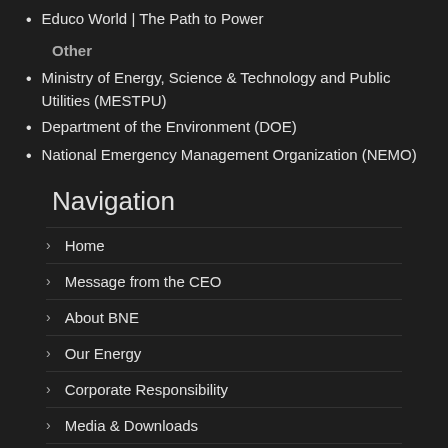Educo World | The Path to Power
Other
Ministry of Energy, Science & Technology and Public Utilities (MESTPU)
Department of the Environment (DOE)
National Emergency Management Organization (NEMO)
Navigation
Home
Message from the CEO
About BNE
Our Energy
Corporate Responsibility
Media & Downloads
Newsworthy